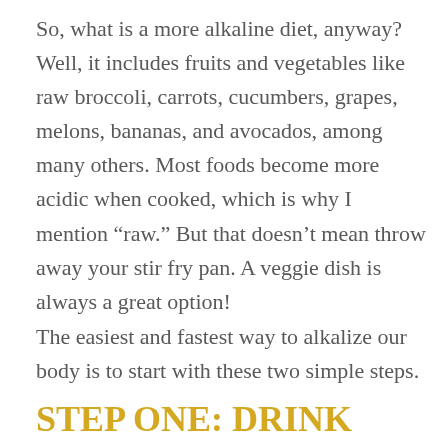So, what is a more alkaline diet, anyway? Well, it includes fruits and vegetables like raw broccoli, carrots, cucumbers, grapes, melons, bananas, and avocados, among many others. Most foods become more acidic when cooked, which is why I mention “raw.” But that doesn’t mean throw away your stir fry pan. A veggie dish is always a great option!
The easiest and fastest way to alkalize our body is to start with these two simple steps.
STEP ONE: DRINK LEMON WATER
Most of my clients have been listening to me say